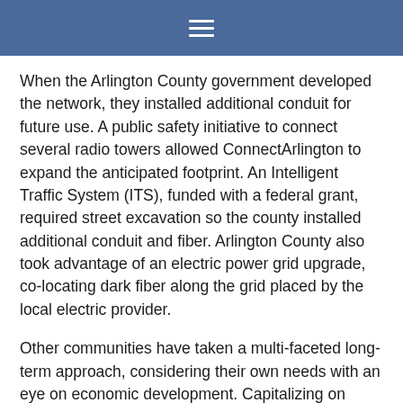≡
When the Arlington County government developed the network, they installed additional conduit for future use. A public safety initiative to connect several radio towers allowed ConnectArlington to expand the anticipated footprint. An Intelligent Traffic System (ITS), funded with a federal grant, required street excavation so the county installed additional conduit and fiber. Arlington County also took advantage of an electric power grid upgrade, co-locating dark fiber along the grid placed by the local electric provider.
Other communities have taken a multi-faceted long-term approach, considering their own needs with an eye on economic development. Capitalizing on unique opportunites can reduce costs, speed up a deployment, and allow the local community to better manage their projects.